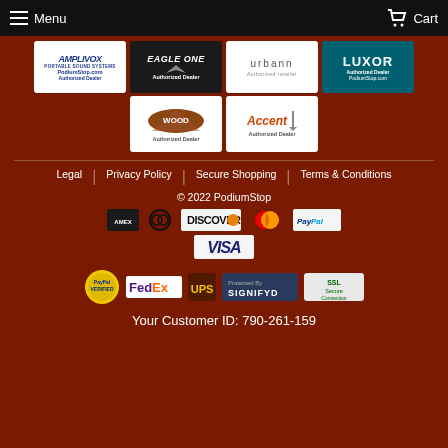Menu  Cart
[Figure (logo): AmpliVox Portable Sound Systems PodiumStop.com Authorized Dealer logo]
[Figure (logo): Eagle One Authorized Dealer logo]
[Figure (logo): urbann Authorized retailer logo]
[Figure (logo): LUXOR Authorized Dealer PodiumStop.com logo]
[Figure (logo): Wood Authorized Dealer logo]
[Figure (logo): Accent Authorized Dealer logo]
Legal  Privacy Policy  Secure Shopping  Terms & Conditions
© 2022 PodiumStop
[Figure (logo): Payment icons: American Express, Diners Club, Discover, MasterCard, PayPal, Visa]
[Figure (logo): Trust badges: PayPal Verified, FedEx, UPS, Signifyd, SSL Secure Connection]
Your Customer ID: 790-261-159